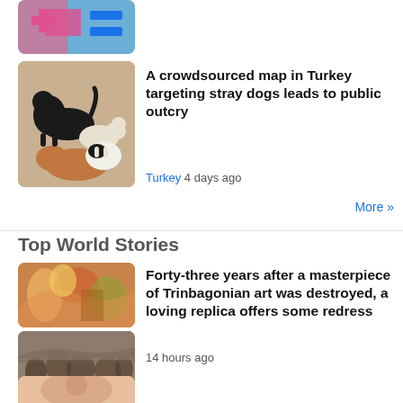[Figure (photo): Partial map screenshot with blue and pink regions, top of page cut off]
[Figure (photo): Group of stray dogs including black, white/brown spotted, and orange dogs on a dirt surface]
A crowdsourced map in Turkey targeting stray dogs leads to public outcry
Turkey 4 days ago
More »
Top World Stories
[Figure (photo): Colorful mural painting showing abstract human figures in warm tones]
[Figure (photo): Wide mural artwork depicting historical or mythological scene with many figures]
Forty-three years after a masterpiece of Trinbagonian art was destroyed, a loving replica offers some redress
14 hours ago
[Figure (photo): Partial photo of a person's face, cut off at bottom of page]